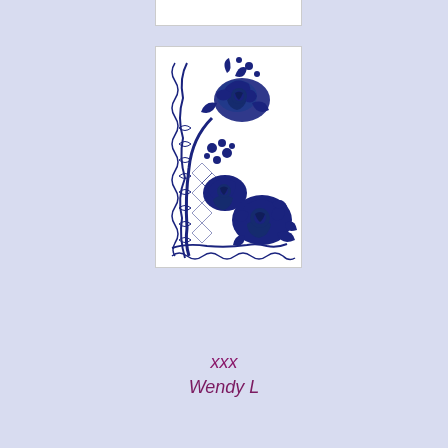[Figure (illustration): A decorative illustration of dark navy blue roses and floral lace border design on a white background, forming an L-shaped corner arrangement with large roses and intricate lattice/lace patterns.]
xxx
Wendy L